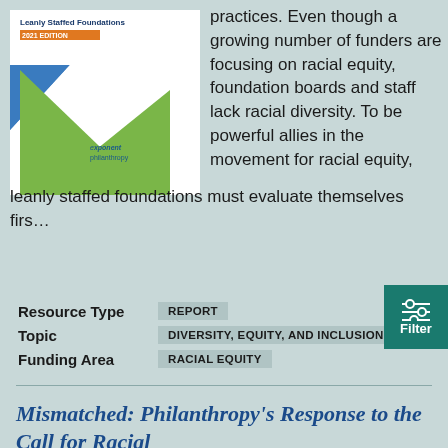[Figure (illustration): Book cover for 'Leanly Staffed Foundations 2021 Edition' by Exponent Philanthropy, featuring blue and green geometric triangles on white background]
practices. Even though a growing number of funders are focusing on racial equity, foundation boards and staff lack racial diversity. To be powerful allies in the movement for racial equity, leanly staffed foundations must evaluate themselves first.
Resource Type: REPORT
Topic: DIVERSITY, EQUITY, AND INCLUSION
Funding Area: RACIAL EQUITY
Mismatched: Philanthropy's Response to the Call for Racial Justice